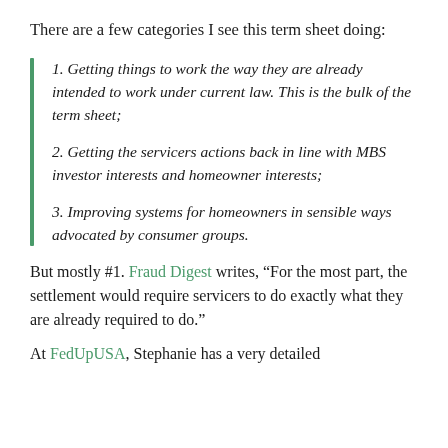There are a few categories I see this term sheet doing:
1. Getting things to work the way they are already intended to work under current law. This is the bulk of the term sheet;
2. Getting the servicers actions back in line with MBS investor interests and homeowner interests;
3. Improving systems for homeowners in sensible ways advocated by consumer groups.
But mostly #1. Fraud Digest writes, “For the most part, the settlement would require servicers to do exactly what they are already required to do.”
At FedUpUSA, Stephanie has a very detailed